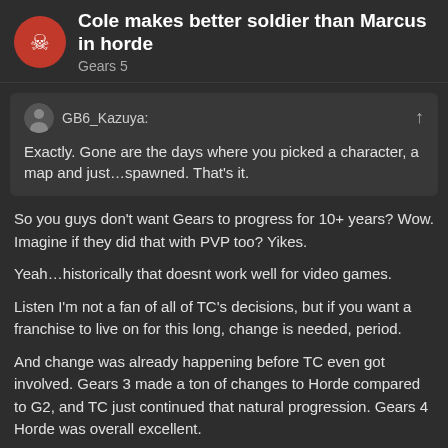Cole makes better soldier than Marcus in horde
Gears 5
GB6_Kazuya:
Exactly. Gone are the days where you picked a character, a map and just…spawned. That's it.
So you guys don't want Gears to progress for 10+ years? Wow. Imagine if they did that with PVP too? Yikes.
Yeah…historically that doesnt work well for video games.
Listen I'm not a fan of all of TC's decisions, but if you want a franchise to live on for this long, change is needed, period.
And change was already happening before TC even got involved. Gears 3 made a ton of changes to Horde compared to G2, and TC just continued that natural progression. Gears 4 Horde was overall excellent.
Gears 5 Horde is really fun too, but locking characters is what has caused ppl to be uns